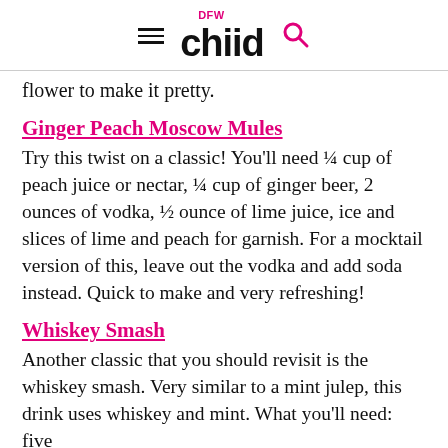DFW child
flower to make it pretty.
Ginger Peach Moscow Mules
Try this twist on a classic! You'll need ¼ cup of peach juice or nectar, ¼ cup of ginger beer, 2 ounces of vodka, ½ ounce of lime juice, ice and slices of lime and peach for garnish. For a mocktail version of this, leave out the vodka and add soda instead. Quick to make and very refreshing!
Whiskey Smash
Another classic that you should revisit is the whiskey smash. Very similar to a mint julep, this drink uses whiskey and mint. What you'll need: five